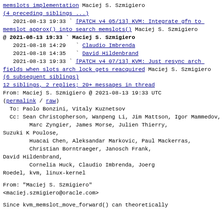memslots implementation Maciej S. Szmigiero
(4 preceding siblings ...)
2021-08-13 19:33 ` [PATCH v4 05/13] KVM: Integrate gfn to memslot approx() into search memslots() Maciej S. Szmigiero
@ 2021-08-13 19:33 ` Maciej S. Szmigiero
2021-08-18 14:29   ` Claudio Imbrenda
2021-08-18 14:35   ` David Hildenbrand
2021-08-13 19:33 ` [PATCH v4 07/13] KVM: Just resync arch fields when slots arch lock gets reacquired Maciej S. Szmigiero
(6 subsequent siblings)
12 siblings, 2 replies; 20+ messages in thread
From: Maciej S. Szmigiero @ 2021-08-13 19:33 UTC (permalink / raw)
To: Paolo Bonzini, Vitaly Kuznetsov
Cc: Sean Christopherson, Wanpeng Li, Jim Mattson, Igor Mammedov,
        Marc Zyngier, James Morse, Julien Thierry, Suzuki K Poulose,
        Huacai Chen, Aleksandar Markovic, Paul Mackerras,
        Christian Borntraeger, Janosch Frank, David Hildenbrand,
        Cornelia Huck, Claudio Imbrenda, Joerg Roedel, kvm, linux-kernel
From: "Maciej S. Szmigiero"
<maciej.szmigiero@oracle.com>
Since kvm_memslot_move_forward() can theoretically